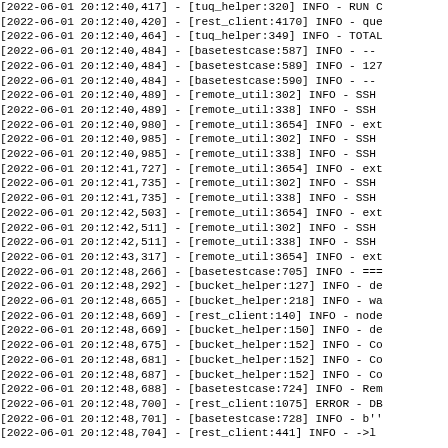Log output lines from 2022-06-01 showing timestamps and log entries from tuq_helper, rest_client, basetestcase, remote_util, bucket_helper modules